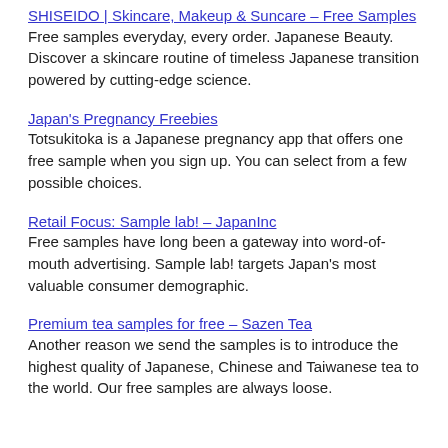SHISEIDO | Skincare, Makeup & Suncare – Free Samples
Free samples everyday, every order. Japanese Beauty. Discover a skincare routine of timeless Japanese transition powered by cutting-edge science.
Japan's Pregnancy Freebies
Totsukitoka is a Japanese pregnancy app that offers one free sample when you sign up. You can select from a few possible choices.
Retail Focus: Sample lab! – JapanInc
Free samples have long been a gateway into word-of-mouth advertising. Sample lab! targets Japan's most valuable consumer demographic.
Premium tea samples for free – Sazen Tea
Another reason we send the samples is to introduce the highest quality of Japanese, Chinese and Taiwanese tea to the world. Our free samples are always loose.